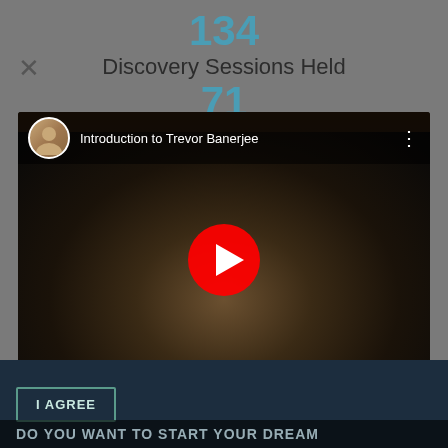134
Discovery Sessions Held
71
[Figure (screenshot): YouTube video thumbnail showing 'Introduction to Trevor Banerjee' with a man in a grey blazer facing the camera, YouTube play button overlay, avatar icon and title in top bar.]
I AGREE
DO YOU WANT TO START YOUR DREAM